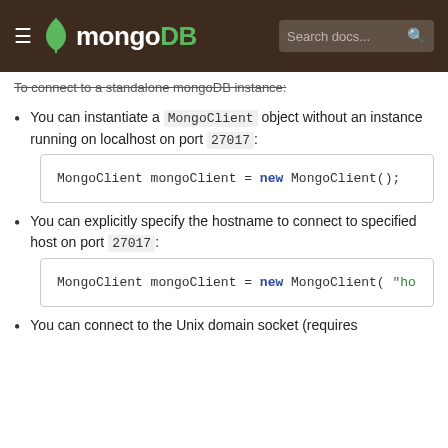MongoDB
To connect to a standalone MongoDB instance:
You can instantiate a MongoClient object without any arguments to connect to a MongoDB instance running on localhost on port 27017:
MongoClient mongoClient = new MongoClient();
You can explicitly specify the hostname to connect to a MongoDB instance running on the specified host on port 27017:
MongoClient mongoClient = new MongoClient( "hos
You can connect to the Unix domain socket (requires